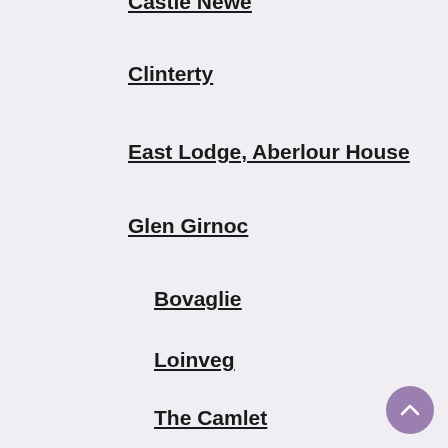Castle Newe
Clinterty
East Lodge, Aberlour House
Glen Girnoc
Bovaglie
Loinveg
The Camlet
Glencowie, Strathdon
Kingseat Hospital
Knowsie House